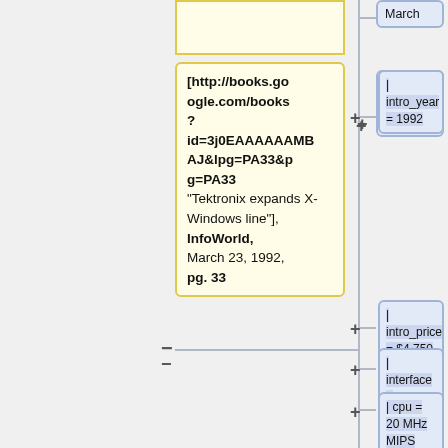[Figure (flowchart): Wikipedia-style infobox editor diff view showing a yellow citation box on the left connected via lines to multiple blue infobox parameter boxes on the right. The yellow box contains a URL to books.google.com and citation text for 'Tektronix expands X-Windows line', InfoWorld, March 23, 1992, pg. 33. The blue boxes on the right show: intro_year = 1992, intro_price = $4,750, interface = ethernet, cpu = 20 MHz MIPS R3000.]